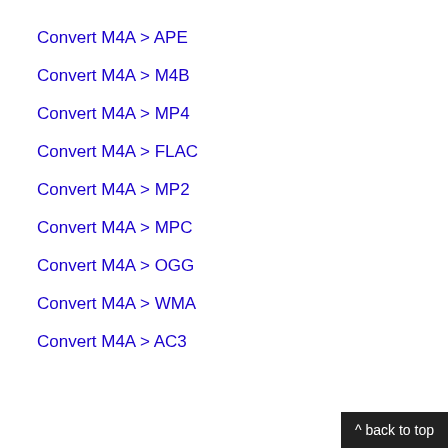Convert M4A > APE
Convert M4A > M4B
Convert M4A > MP4
Convert M4A > FLAC
Convert M4A > MP2
Convert M4A > MPC
Convert M4A > OGG
Convert M4A > WMA
Convert M4A > AC3
^ back to top